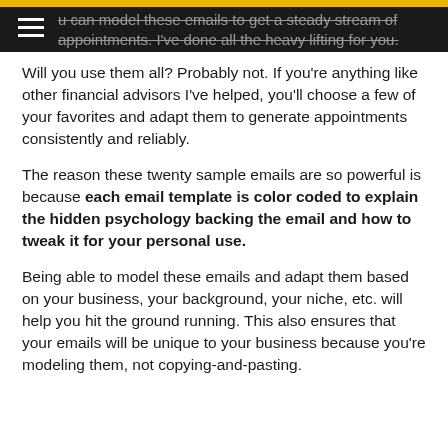u can model these emails to get a steady stream of appointments. I've done all the heavy lifting for you.
Will you use them all? Probably not. If you're anything like other financial advisors I've helped, you'll choose a few of your favorites and adapt them to generate appointments consistently and reliably.
The reason these twenty sample emails are so powerful is because each email template is color coded to explain the hidden psychology backing the email and how to tweak it for your personal use.
Being able to model these emails and adapt them based on your business, your background, your niche, etc. will help you hit the ground running. This also ensures that your emails will be unique to your business because you're modeling them, not copying-and-pasting.